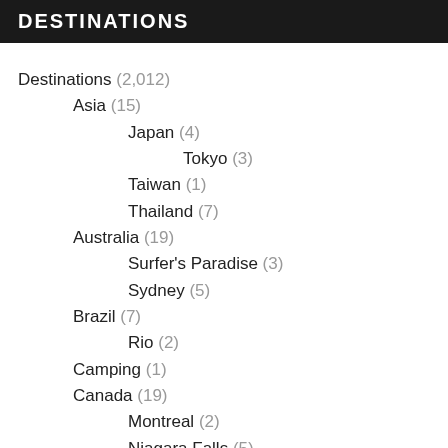DESTINATIONS
Destinations (2,012)
Asia (15)
Japan (4)
Tokyo (3)
Taiwan (1)
Thailand (7)
Australia (19)
Surfer's Paradise (3)
Sydney (5)
Brazil (7)
Rio (2)
Camping (1)
Canada (19)
Montreal (2)
Niagara Falls (5)
Toronto (1)